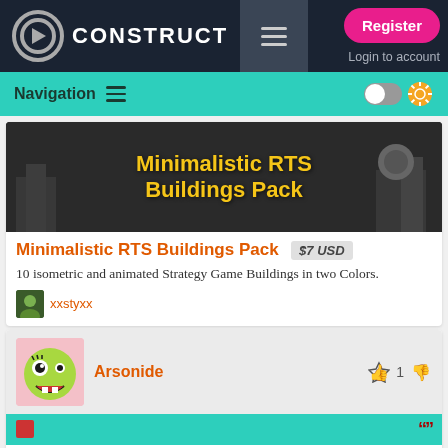CONSTRUCT — Register / Login to account
Navigation
[Figure (screenshot): Minimalistic RTS Buildings Pack banner with yellow bold text on dark background]
Minimalistic RTS Buildings Pack $7 USD
10 isometric and animated Strategy Game Buildings in two Colors.
xxstyxx
Arsonide — thumbs up 1 thumbs down
I'm having trouble, I'm having two bases spawn a lot of dots and send them at the other base. If they hit another dot, they die, and it works great.